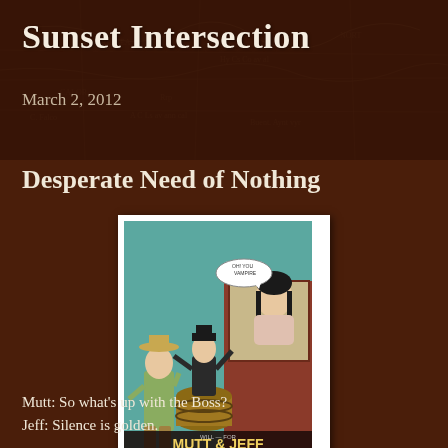Sunset Intersection
March 2, 2012
Desperate Need of Nothing
[Figure (illustration): Vintage comic/movie poster illustration for Mutt & Jeff Meeting Theda Bara, produced by Fox Film Corporation. Two men look up at a woman leaning out of a window with a speech bubble saying 'Oh! You Vampire'. One man stands on a barrel.]
Mutt: So what's up with the Boss?
Jeff: Silence is golden.